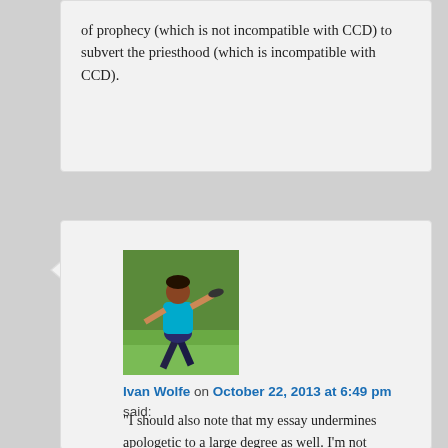of prophecy (which is not incompatible with CCD) to subvert the priesthood (which is incompatible with CCD).
[Figure (photo): Avatar photo of Ivan Wolfe, a person throwing a disc (frisbee or disc golf), wearing a cyan/teal shirt and dark shorts, outdoors on green grass.]
Ivan Wolfe on October 22, 2013 at 6:49 pm said:
“I should also note that my essay undermines apologetic to a large degree as well. I’m not putting pressure on them to step up their game, but rather to stop playing the game of the intellectuals.”
I like this comment. It’s interesting – I am a CCD type of guy, I have a PhD in English and the CCD paradigm you state is similar to what I do everyday in my teaching job (more so than some